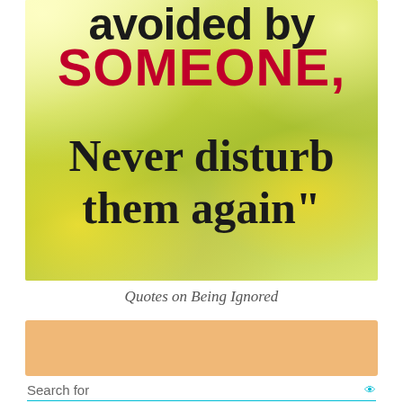[Figure (illustration): Motivational quote image with yellow flower field background. Text reads 'avoided by SOMEONE, Never disturb them again"' in black and dark red bold fonts.]
Quotes on Being Ignored
[Figure (other): Orange/tan advertisement banner block]
Search for
1. WAYS TO GET YOUR EX BACK →
2. MAKE A MAN FALL IN LOVE →